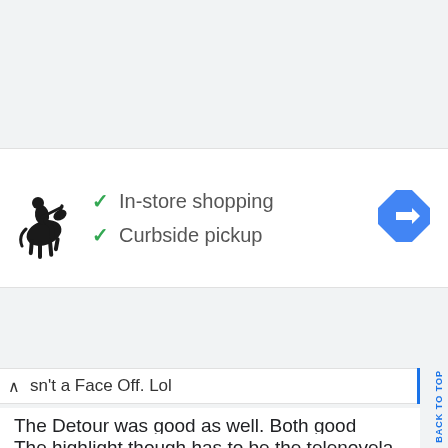[Figure (infographic): Store listing card with Polo Ralph Lauren logo, checkmarks for In-store shopping and Curbside pickup, and a blue directions button]
✓ In-store shopping
✓ Curbside pickup
sn't a Face Off. Lol
The Detour was good as well. Both good features of Mexico City and Mexican culture.
The highlight though has to be the telenovela challenge. It was a great, fun task. I kinda wish they